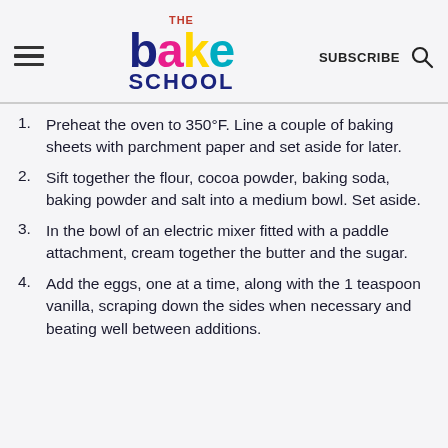THE BAKE SCHOOL | SUBSCRIBE
Preheat the oven to 350°F. Line a couple of baking sheets with parchment paper and set aside for later.
Sift together the flour, cocoa powder, baking soda, baking powder and salt into a medium bowl. Set aside.
In the bowl of an electric mixer fitted with a paddle attachment, cream together the butter and the sugar.
Add the eggs, one at a time, along with the 1 teaspoon vanilla, scraping down the sides when necessary and beating well between additions.